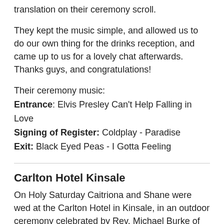translation on their ceremony scroll.
They kept the music simple, and allowed us to do our own thing for the drinks reception, and came up to us for a lovely chat afterwards. Thanks guys, and congratulations!
Their ceremony music:
Entrance: Elvis Presley Can't Help Falling in Love
Signing of Register: Coldplay - Paradise
Exit: Black Eyed Peas - I Gotta Feeling
Carlton Hotel Kinsale
On Holy Saturday Caitriona and Shane were wed at the Carlton Hotel in Kinsale, in an outdoor ceremony celebrated by Rev. Michael Burke of the order of Marion Apostles. Here is the music they chose for their ceremony.